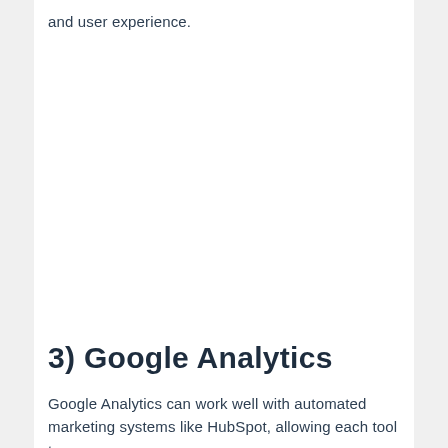and user experience.
3) Google Analytics
Google Analytics can work well with automated marketing systems like HubSpot, allowing each tool to